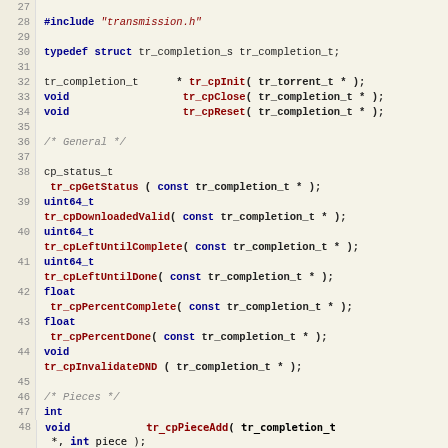Source code listing: completion.h, lines 27-49
#include "transmission.h"
typedef struct tr_completion_s tr_completion_t;
tr_completion_t * tr_cpInit( tr_torrent_t * );
void tr_cpClose( tr_completion_t * );
void tr_cpReset( tr_completion_t * );
/* General */
cp_status_t tr_cpGetStatus ( const tr_completion_t * );
uint64_t tr_cpDownloadedValid( const tr_completion_t * );
uint64_t tr_cpLeftUntilComplete( const tr_completion_t * );
uint64_t tr_cpLeftUntilDone( const tr_completion_t * );
float tr_cpPercentComplete( const tr_completion_t * );
float tr_cpPercentDone( const tr_completion_t * );
void tr_cpInvalidateDND ( tr_completion_t * );
/* Pieces */
int tr_cpPieceIsComplete( const tr_completion_t *, int piece );
void tr_cpPieceAdd( tr_completion_t *, int piece );
void tr_cpPieceRem( tr_completion_t *, int piece );